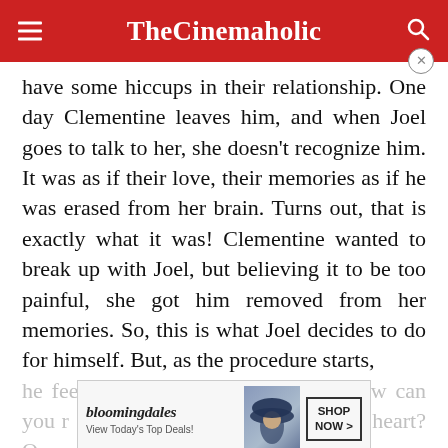TheCinemaholic
have some hiccups in their relationship. One day Clementine leaves him, and when Joel goes to talk to her, she doesn't recognize him. It was as if their love, their memories as if he was erased from her brain. Turns out, that is exactly what it was! Clementine wanted to break up with Joel, but believing it to be too painful, she got him removed from her memories. So, this is what Joel decides to do for himself. But, as the procedure starts,
he feels reluctant to let go of her. How can you r... 's in your heart? One of the best love stories of all
[Figure (screenshot): Bloomingdale's advertisement banner: 'View Today's Top Deals!' with SHOP NOW button and image of woman in hat]